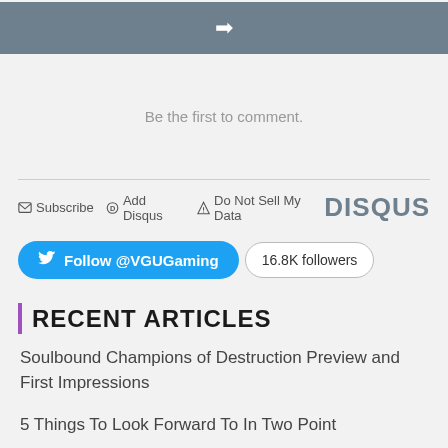[Figure (other): Gray navigation bar with a right arrow icon in the center]
Be the first to comment.
Subscribe  Add Disqus  Do Not Sell My Data  DISQUS
[Figure (other): Twitter follow button for @VGUGaming with 16.8K followers badge]
RECENT ARTICLES
Soulbound Champions of Destruction Preview and First Impressions
5 Things To Look Forward To In Two Point